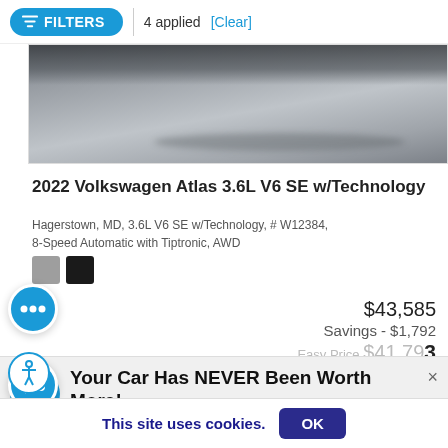FILTERS | 4 applied [Clear]
[Figure (photo): Partial view of a car from above, showing the lower portion on a paved surface]
2022 Volkswagen Atlas 3.6L V6 SE w/Technology
Hagerstown, MD, 3.6L V6 SE w/Technology, # W12384, 8-Speed Automatic with Tiptronic, AWD
$43,585
Savings - $1,792
Your Car Has NEVER Been Worth More!
Sell or Trade Your Car Today.
$41,793
This site uses cookies.